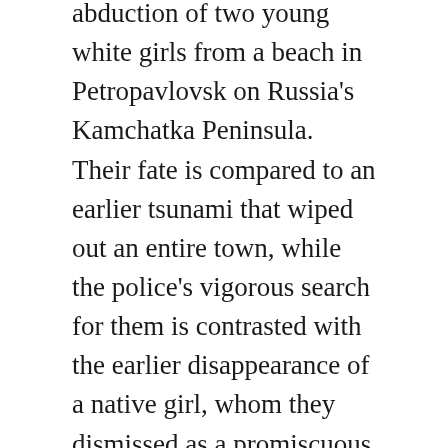abduction of two young white girls from a beach in Petropavlovsk on Russia's Kamchatka Peninsula. Their fate is compared to an earlier tsunami that wiped out an entire town, while the police's vigorous search for them is contrasted with the earlier disappearance of a native girl, whom they dismissed as a promiscuous runaway.
Long isolated from Western influences, Kamchatka is reeling from the collapse of the Soviet Union and the currency devaluations that followed. Older people, who still hang pictures of Stalin on their walls, wrestle with existential questions about whether freedom was worth what they perceive as a breakdown in values, while young adults resent their parents' pensions, paid-for apartments, and free university educations. Simmering